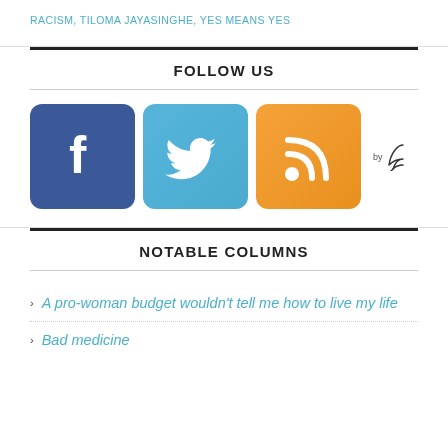RACISM, TILOMA JAYASINGHE, YES MEANS YES
FOLLOW US
[Figure (other): Social media icons: Facebook (blue square with f), Twitter (light blue square with bird), RSS (orange square with feed icon), and a 'by feather' small logo]
NOTABLE COLUMNS
A pro-woman budget wouldn't tell me how to live my life
Bad medicine